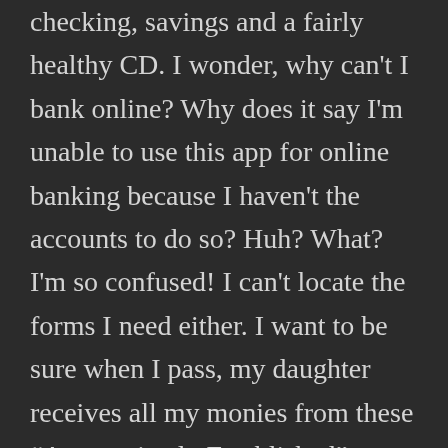checking, savings and a fairly healthy CD. I wonder, why can't I bank online? Why does it say I'm unable to use this app for online banking because I haven't the accounts to do so? Huh? What? I'm so confused! I can't locate the forms I need either. I want to be sure when I pass, my daughter receives all my monies from these "Appropriately Established" accounts! I've called 3 times to have the forms mailed to me. to no avail and I'm unable to pay my bills online. I'm disabled, hooked up to